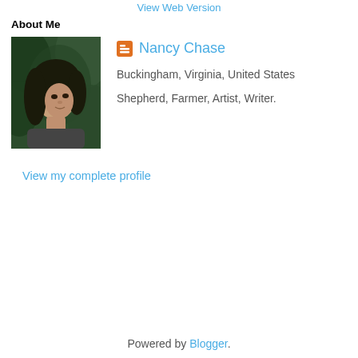View Web Version
About Me
[Figure (photo): Profile photo of Nancy Chase — a woman photographed outdoors against green foliage]
Nancy Chase
Buckingham, Virginia, United States
Shepherd, Farmer, Artist, Writer.
View my complete profile
Powered by Blogger.